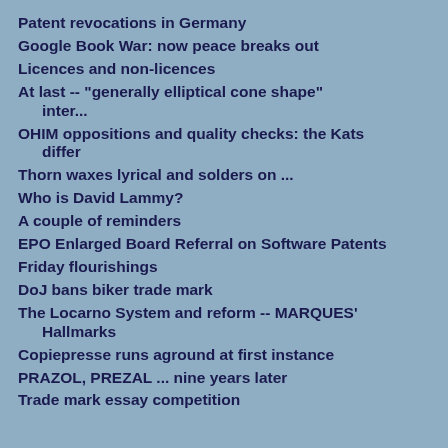Patent revocations in Germany
Google Book War: now peace breaks out
Licences and non-licences
At last -- "generally elliptical cone shape" inter...
OHIM oppositions and quality checks: the Kats differ
Thorn waxes lyrical and solders on ...
Who is David Lammy?
A couple of reminders
EPO Enlarged Board Referral on Software Patents
Friday flourishings
DoJ bans biker trade mark
The Locarno System and reform -- MARQUES' Hallmarks
Copiepresse runs aground at first instance
PRAZOL, PREZAL ... nine years later
Trade mark essay competition